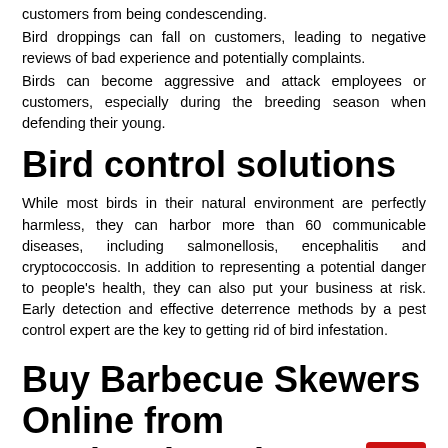customers from being condescending.
Bird droppings can fall on customers, leading to negative reviews of bad experience and potentially complaints.
Birds can become aggressive and attack employees or customers, especially during the breeding season when defending their young.
Bird control solutions
While most birds in their natural environment are perfectly harmless, they can harbor more than 60 communicable diseases, including salmonellosis, encephalitis and cryptococcosis. In addition to representing a potential danger to people's health, they can also put your business at risk. Early detection and effective deterrence methods by a pest control expert are the key to getting rid of bird infestation.
Buy Barbecue Skewers Online from Buybestbrands...